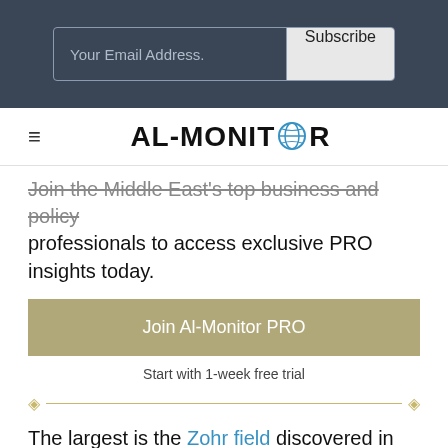Your Email Address. Subscribe
[Figure (logo): AL-MONITOR logo with globe icon replacing the O]
Join the Middle East's top business and policy professionals to access exclusive PRO insights today.
Join Al-Monitor PRO
Start with 1-week free trial
The largest is the Zohr field discovered in the Mediterranean in August 2015. The field's reserves were estimated at 30 trillion cubic feet